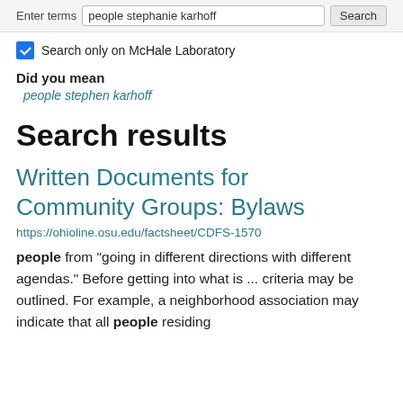Enter terms  people stephanie karhoff  Search
Search only on McHale Laboratory
Did you mean
people stephen karhoff
Search results
Written Documents for Community Groups: Bylaws
https://ohioline.osu.edu/factsheet/CDFS-1570
people from "going in different directions with different agendas." Before getting into what is ... criteria may be outlined. For example, a neighborhood association may indicate that all people residing